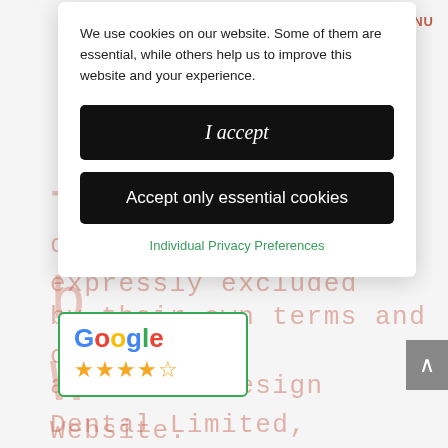domains, unless expressly excluded by their own terms and conditions), and Smile Design Dental Limited, t and operator of this Website.
[Figure (screenshot): Cookie consent modal dialog with 'I accept' button, 'Accept only essential cookies' button, and 'Individual Privacy Preferences' link]
[Figure (screenshot): Google rating widget showing Google logo and 4.5 star rating]
MENU